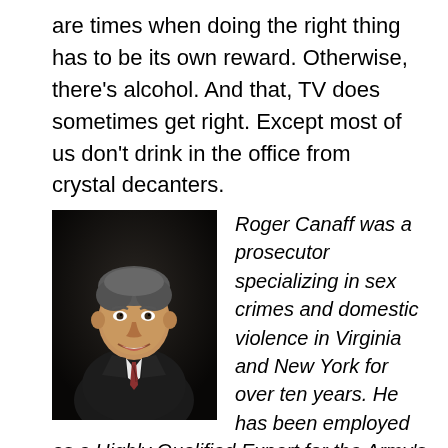are times when doing the right thing has to be its own reward. Otherwise, there's alcohol. And that, TV does sometimes get right. Except most of us don't drink in the office from crystal decanters.
[Figure (photo): Headshot of Roger Canaff, a man in a dark suit with a striped tie, smiling against a dark background.]
Roger Canaff was a prosecutor specializing in sex crimes and domestic violence in Virginia and New York for over ten years. He has been employed as a Highly Qualified Expert for the Army's Judge Advocate General (JAG), where he trained and advised military prosecutors about sex crimes and other special victims' cases. Currently he serves as president of End Violence Against Women International. Read more at